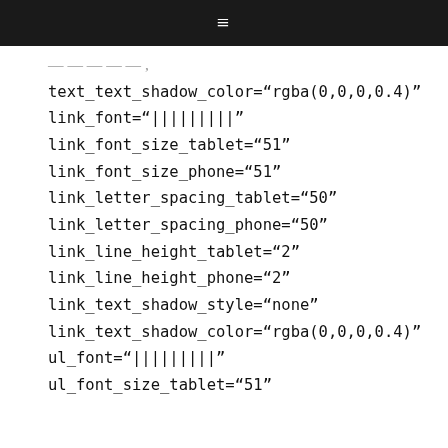≡
text_text_shadow_color="rgba(0,0,0,0.4)"
link_font="|||||||||"
link_font_size_tablet="51"
link_font_size_phone="51"
link_letter_spacing_tablet="50"
link_letter_spacing_phone="50"
link_line_height_tablet="2"
link_line_height_phone="2"
link_text_shadow_style="none"
link_text_shadow_color="rgba(0,0,0,0.4)"
ul_font="|||||||||"
ul_font_size_tablet="51"